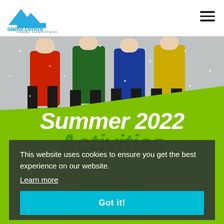[Figure (logo): The Snow Centre Hemel Hempstead logo — blue mountain peaks with text 'the snow centre' in teal/blue and 'HEMEL HEMPSTEAD' below]
[Figure (photo): Group of skiers in colourful jackets (red, green, blue, yellow) with falling snow in background]
Summer 2022
Activities
Lift Passes, Lessons & Family
Snow Fun
This website uses cookies to ensure you get the best experience on our website.
Learn more
Got it!
BOOK ONLINE